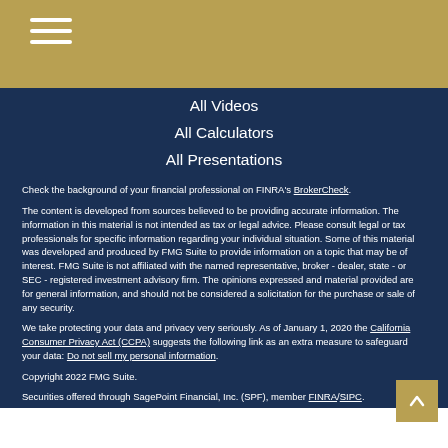Navigation menu header with hamburger icon
All Videos
All Calculators
All Presentations
Check the background of your financial professional on FINRA's BrokerCheck.
The content is developed from sources believed to be providing accurate information. The information in this material is not intended as tax or legal advice. Please consult legal or tax professionals for specific information regarding your individual situation. Some of this material was developed and produced by FMG Suite to provide information on a topic that may be of interest. FMG Suite is not affiliated with the named representative, broker - dealer, state - or SEC - registered investment advisory firm. The opinions expressed and material provided are for general information, and should not be considered a solicitation for the purchase or sale of any security.
We take protecting your data and privacy very seriously. As of January 1, 2020 the California Consumer Privacy Act (CCPA) suggests the following link as an extra measure to safeguard your data: Do not sell my personal information.
Copyright 2022 FMG Suite.
Securities offered through SagePoint Financial, Inc. (SPF), member FINRA/SIPC.